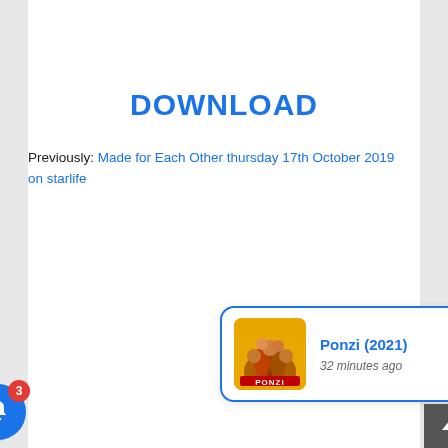DOWNLOAD
Previously: Made for Each Other thursday 17th October 2019 on starlife
[Figure (screenshot): Notification popup showing Ponzi (2021) movie with a yellow movie poster thumbnail, title in blue, and '32 minutes ago' in italic gray text. Includes a close (X) button, a blue bell icon with red badge showing 3, and a dark scroll-to-top arrow button.]